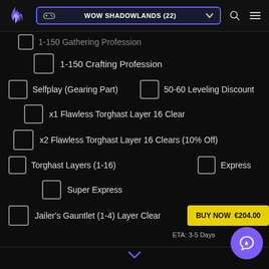WOW SHADOWLANDS (22)
1-150 Gathering Profession (partial, cut off)
1-150 Crafting Profession
Selfplay (Gearing Part)
50-60 Leveling Discount
x1 Flawless Torghast Layer 16 Clear
x2 Flawless Torghast Layer 16 Clears (10% Off)
Torghast Layers (1-16)
Express
Super Express
Jailer's Gauntlet (1-4) Layer Clear
BUY NOW €204.00
ETA: 3-5 Days